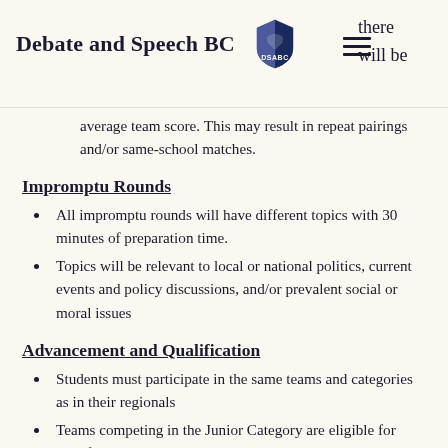Debate and Speech BC
average team score. This may result in repeat pairings and/or same-school matches.
Impromptu Rounds
All impromptu rounds will have different topics with 30 minutes of preparation time.
Topics will be relevant to local or national politics, current events and policy discussions, and/or prevalent social or moral issues
Advancement and Qualification
Students must participate in the same teams and categories as in their regionals
Teams competing in the Junior Category are eligible for qualification to the Junior Debate Nationals
Teams competing in the Senior Category are eligible for qualification to the Senior